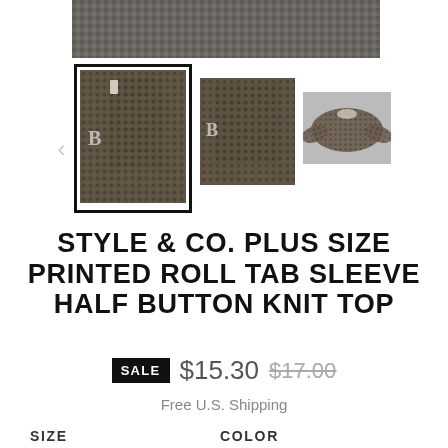[Figure (photo): Top portion of a product photo showing a patterned top hanging, cropped at top of page]
[Figure (photo): Three thumbnail images of Style & Co. Plus Size Printed Roll Tab Sleeve Half Button Knit Top — front view selected with black border, side view, and flat-lay view]
STYLE & CO. PLUS SIZE PRINTED ROLL TAB SLEEVE HALF BUTTON KNIT TOP
SALE $15.30 $17.00
Free U.S. Shipping
SIZE
COLOR